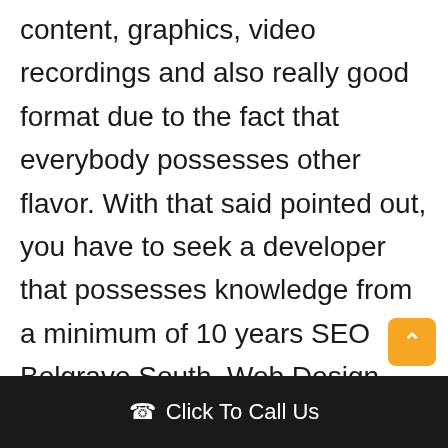content, graphics, video recordings and also really good format due to the fact that everybody possesses other flavor. With that said pointed out, you have to seek a developer that possesses knowledge from a minimum of 10 years SEO Belgrave South. Web Design Belgrave South. He that has
Click To Call Us